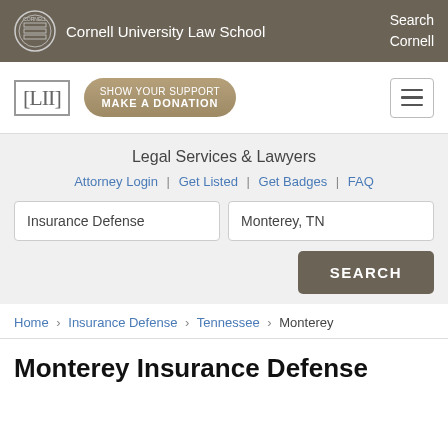Cornell University Law School | Search Cornell
[Figure (logo): LII Legal Information Institute logo with [LII] bracket text and Show Your Support Make A Donation button]
Legal Services & Lawyers
Attorney Login | Get Listed | Get Badges | FAQ
Search inputs: Insurance Defense | Monterey, TN | SEARCH button
Home > Insurance Defense > Tennessee > Monterey
Monterey Insurance Defense